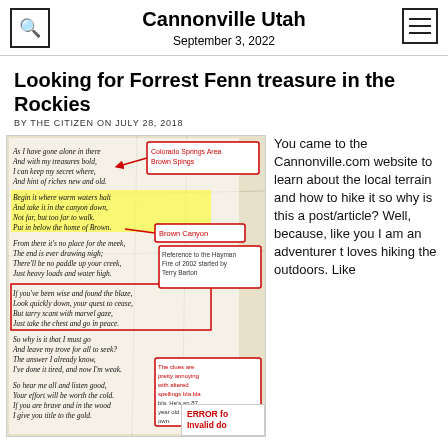Cannonville Utah
September 3, 2022
Looking for Forrest Fenn treasure in the Rockies
BY THE CITIZEN ON JULY 28, 2018
[Figure (illustration): Annotated image of Forrest Fenn treasure poem with map background, red annotation boxes pointing to 'Colorado Springs Area Brown Spings', 'Brown Canyon', 'Reference to the Hayman Fire of 2002 started by Terry Barton', and 'The clues are pretty annoying with altered spellings bla bla bla. He's an 87 year old art gallery own.']
You came to the Cannonville.com website to learn about the local terrain and how to hike it so why is this a post/article? Well, because, like you I am an adventurer t loves hiking the outdoors. Like